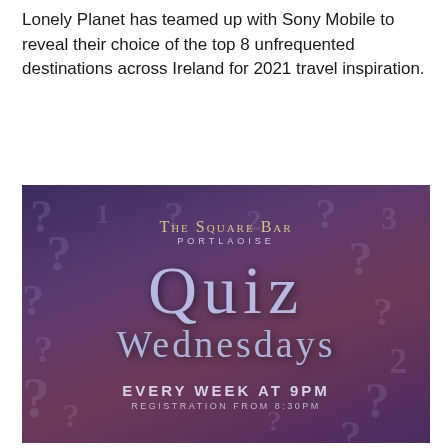Lonely Planet has teamed up with Sony Mobile to reveal their choice of the top 8 unfrequented destinations across Ireland for 2021 travel inspiration.
[Figure (illustration): Promotional poster for The Square Bar Portlaoise Quiz Wednesdays event. Dark purple background with question marks pattern. Text reads: THE SQUARE BAR, PORTLAOISE, QUIZ WEDNESDAYS, EVERY WEEK AT 9PM, REGISTRATION FROM 8:30PM]